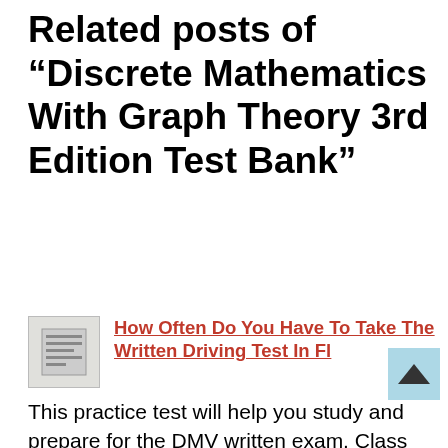Related posts of "Discrete Mathematics With Graph Theory 3rd Edition Test Bank"
How Often Do You Have To Take The Written Driving Test In Fl
This practice test will help you study and prepare for the DMV written exam. Class E Driving Skills Test. Pin On Symbols Scripts Typography Codes Fonts If you are currently licensed in another state a written test will normally not be required.How often do you have to take the written driving test in fl. 15...
What Questions Are On The Ohio